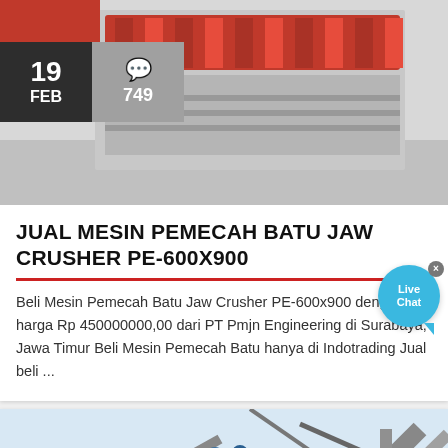[Figure (photo): Red jaw crusher machine (PE-600x900) industrial equipment photo]
JUAL MESIN PEMECAH BATU JAW CRUSHER PE-600X900
Beli Mesin Pemecah Batu Jaw Crusher PE-600x900 dengan harga Rp 450000000,00 dari PT Pmjn Engineering di Surabaya, Jawa Timur Beli Mesin Pemecah Batu hanya di Indotrading Jual beli ...
[Figure (photo): Industrial conveyor/crane equipment outdoor photo]